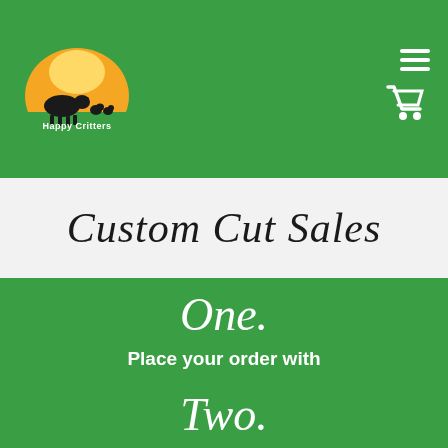[Figure (logo): Happy Critters Farm logo with cow and chickens silhouette on orange/yellow sunrise background, text 'Happy Critters Farm']
Custom Cut Sales
One.
Place your order with Happy Critters Farm.
Two.